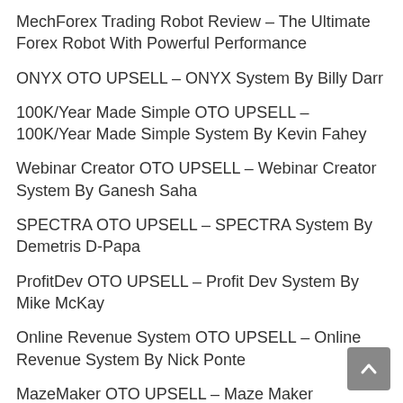MechForex Trading Robot Review – The Ultimate Forex Robot With Powerful Performance
ONYX OTO UPSELL – ONYX System By Billy Darr
100K/Year Made Simple OTO UPSELL – 100K/Year Made Simple System By Kevin Fahey
Webinar Creator OTO UPSELL – Webinar Creator System By Ganesh Saha
SPECTRA OTO UPSELL – SPECTRA System By Demetris D-Papa
ProfitDev OTO UPSELL – Profit Dev System By Mike McKay
Online Revenue System OTO UPSELL – Online Revenue System By Nick Ponte
MazeMaker OTO UPSELL – Maze Maker System By Akshat Gupta
Golden Bank OTO UPSELL – Golden Bank System By...